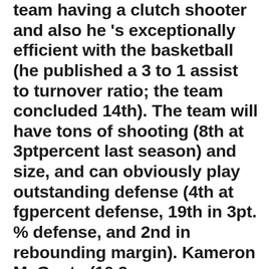team having a clutch shooter and also he 's exceptionally efficient with the basketball (he published a 3 to 1 assist to turnover ratio; the team concluded 14th). The team will have tons of shooting (8th at 3ptpercent last season) and size, and can obviously play outstanding defense (4th at fgpercent defense, 19th in 3pt. % defense, and 2nd in rebounding margin). Kameron McGusty (10.9 ppg., 35.2percent 3pt.) Were bright areas for the Sooners and freshman and, along with juniors Rashard Odomes (10.1